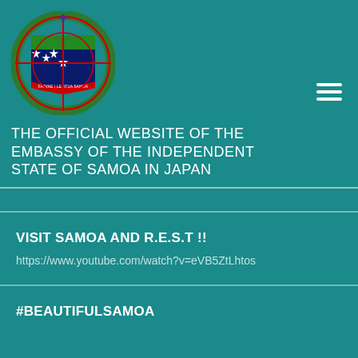[Figure (logo): Coat of Arms of Samoa - shield with red target/crosshair overlay, blue field with stars, green palm tree, red banner reading FAAVAE I LE ATUA SAMOA, cross at top]
THE OFFICIAL WEBSITE OF THE EMBASSY OF THE INDEPENDENT STATE OF SAMOA IN JAPAN
VISIT SAMOA AND R.E.S.T !!
https://www.youtube.com/watch?v=eVB5ZtLhtos
#BEAUTIFULSAMOA